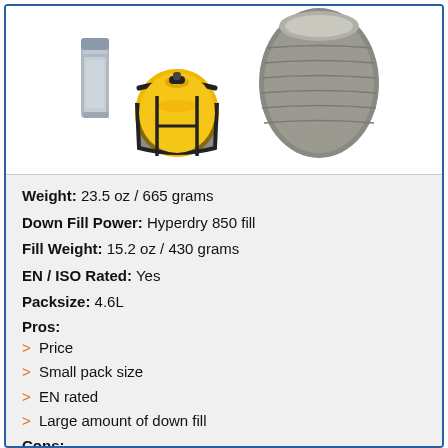[Figure (photo): Product photos: water bottle, yellow compression stuff sack, and a gray sleeping bag shown from above]
Weight: 23.5 oz / 665 grams
Down Fill Power: Hyperdry 850 fill
Fill Weight: 15.2 oz / 430 grams
EN / ISO Rated: Yes
Packsize: 4.6L
Pros:
> Price
> Small pack size
> EN rated
> Large amount of down fill
Cons:
> Not much